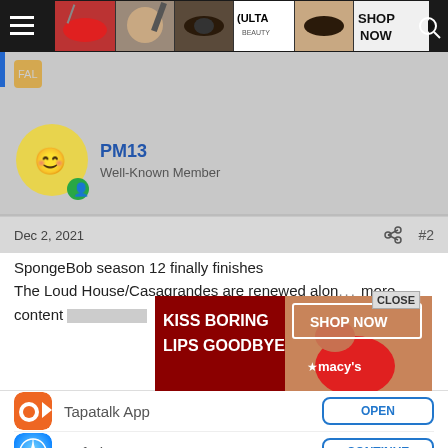[Figure (screenshot): Navigation bar with hamburger menu, Ulta Beauty ad banner (makeup photos, ULTA logo, SHOP NOW button), and search icon on dark background]
[Figure (screenshot): Gray forum background showing partial previous post and PM13 user profile with avatar, username PM13 in blue, Well-Known Member role]
Dec 2, 2021  #2
SpongeBob season 12 finally finishes
The Loud House/Casagrandes are renewed alon... more content...
[Figure (screenshot): Macy's ad overlay: KISS BORING LIPS GOODBYE - SHOP NOW with Macy's star logo, CLOSE button]
Tapatalk App
Safari